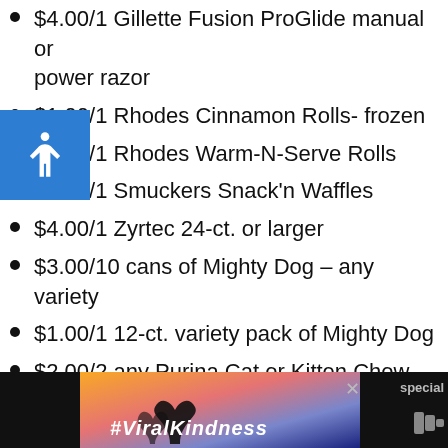$4.00/1 Gillette Fusion ProGlide manual or power razor
$1.00/1 Rhodes Cinnamon Rolls- frozen
$1.00/1 Rhodes Warm-N-Serve Rolls
$1.00/1 Smuckers Snack'n Waffles
$4.00/1 Zyrtec 24-ct. or larger
$3.00/10 cans of Mighty Dog – any variety
$1.00/1 12-ct. variety pack of Mighty Dog
$2.00/2 any Purina Cat or Kitten Chow – any variety (excludes 16-oz.)
$1.00 off your next issue of Southern Living magazine
[Figure (screenshot): Advertisement banner with #ViralKindness text and heart shape silhouette on colorful sunset background]